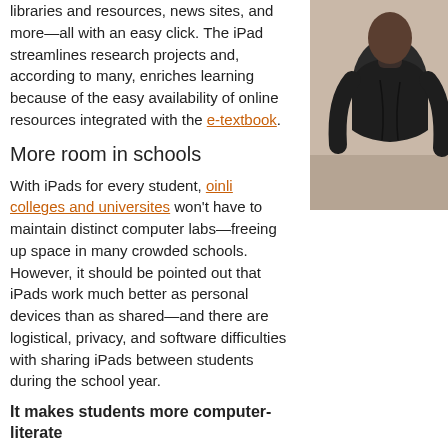libraries and resources, news sites, and more—all with an easy click. The iPad streamlines research projects and, according to many, enriches learning because of the easy availability of online resources integrated with the e-textbook.
More room in schools
With iPads for every student, oinli colleges and universites won't have to maintain distinct computer labs—freeing up space in many crowded schools. However, it should be pointed out that iPads work much better as personal devices than as shared—and there are logistical, privacy, and software difficulties with sharing iPads between students during the school year.
It makes students more computer-literate
In today's economy, fluency with the Internet and digital devices is extremely helpful. Proponents of iPads in classrooms claim that the devices make students more technically literate and prepare them better for a world that relies on technology.
Drawbacks of iPads in a
[Figure (photo): Person wearing dark jacket, partial view from neck down, appears to be in a school or office setting]
While a few have made not